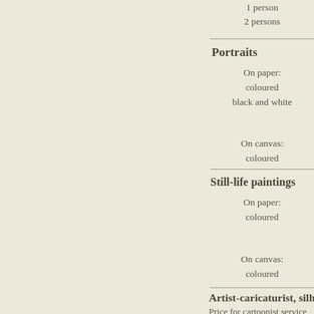1 person
2 persons
Portraits
On paper:
coloured
black and white
On canvas:
coloured
Still-life paintings
On paper:
coloured
On canvas:
coloured
Artist-caricaturist, silhou
Price for cartoonist service
1 hour - 85Eur
2 hours - 150Eur